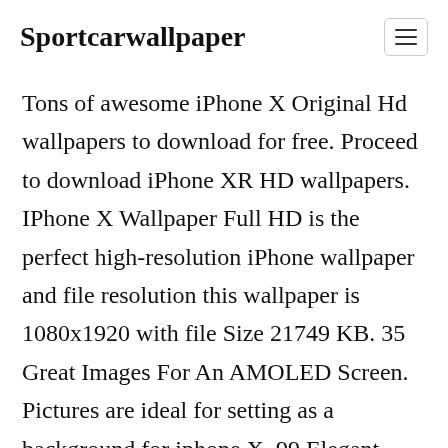Sportcarwallpaper
Tons of awesome iPhone X Original Hd wallpapers to download for free. Proceed to download iPhone XR HD wallpapers. IPhone X Wallpaper Full HD is the perfect high-resolution iPhone wallpaper and file resolution this wallpaper is 1080x1920 with file Size 21749 KB. 35 Great Images For An AMOLED Screen. Pictures are ideal for setting as a background for iphone X. 99 Elegant iPhone X Hd Wallpaper This Year Posted on May 19 2020 June 30 2021 by